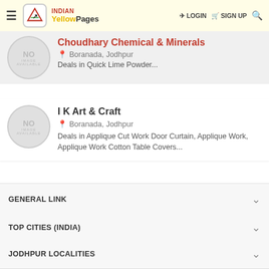INDIAN Yellow Pages — LOGIN SIGN UP
Choudhary Chemical & Minerals — Boranada, Jodhpur — Deals in Quick Lime Powder...
I K Art & Craft — Boranada, Jodhpur — Deals in Applique Cut Work Door Curtain, Applique Work, Applique Work Cotton Table Covers...
GENERAL LINK
TOP CITIES (INDIA)
JODHPUR LOCALITIES
© Copyright 1997-2022 Weblink.In Pvt. Ltd. All Rights Reserved. - Terms of Use